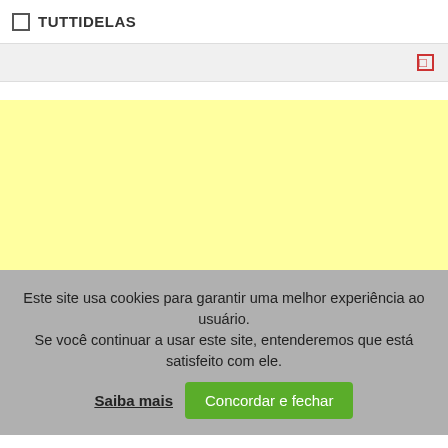TUTTIDELAS
[Figure (screenshot): Search bar area with a small red/pink icon on the right side, gray background]
[Figure (illustration): Large yellow/light yellow background area, advertisement or content placeholder]
Este site usa cookies para garantir uma melhor experiência ao usuário.
Se você continuar a usar este site, entenderemos que está satisfeito com ele.
Saiba mais   Concordar e fechar